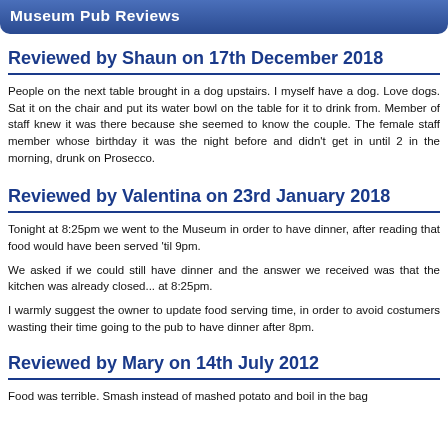Museum Pub Reviews
Reviewed by Shaun on 17th December 2018
People on the next table brought in a dog upstairs. I myself have a dog. Love dogs. Sat it on the chair and put its water bowl on the table for it to drink from. Member of staff knew it was there because she seemed to know the couple. The female staff member whose birthday it was the night before and didn't get in until 2 in the morning, drunk on Prosecco.
Reviewed by Valentina on 23rd January 2018
Tonight at 8:25pm we went to the Museum in order to have dinner, after reading that food would have been served 'til 9pm.
We asked if we could still have dinner and the answer we received was that the kitchen was already closed... at 8:25pm.
I warmly suggest the owner to update food serving time, in order to avoid costumers wasting their time going to the pub to have dinner after 8pm.
Reviewed by Mary on 14th July 2012
Food was terrible. Smash instead of mashed potato and boil in the bag